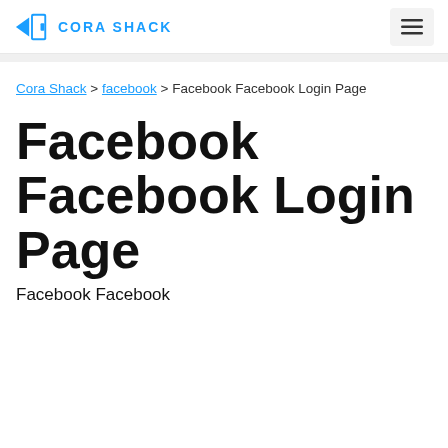CORA SHACK
Cora Shack > facebook > Facebook Facebook Login Page
Facebook Facebook Login Page
Facebook Facebook